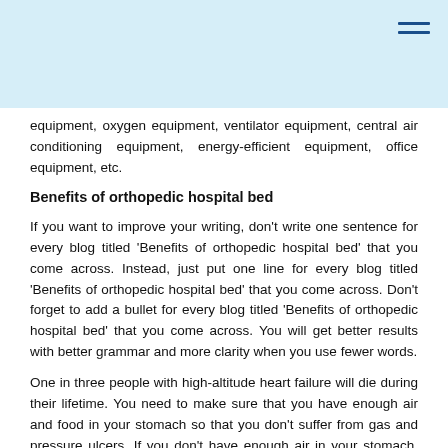equipment, oxygen equipment, ventilator equipment, central air conditioning equipment, energy-efficient equipment, office equipment, etc.
Benefits of orthopedic hospital bed
If you want to improve your writing, don't write one sentence for every blog titled 'Benefits of orthopedic hospital bed' that you come across. Instead, just put one line for every blog titled 'Benefits of orthopedic hospital bed' that you come across. Don't forget to add a bullet for every blog titled 'Benefits of orthopedic hospital bed' that you come across. You will get better results with better grammar and more clarity when you use fewer words.
One in three people with high-altitude heart failure will die during their lifetime. You need to make sure that you have enough air and food in your stomach so that you don't suffer from gas and pressure ulcers. If you don't have enough air in your stomach, you can get pneumonia and it is important to eat well so that you don't